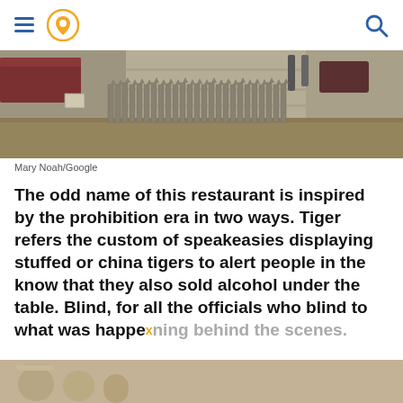Navigation header with hamburger menu, location pin icon, and search icon
[Figure (photo): Outdoor photo showing a wooden picket fence with pointed tops, a stone building wall in the background, a small shed or covered area on the left, and dried brown grass in the foreground. Winter or early spring setting.]
Mary Noah/Google
The odd name of this restaurant is inspired by the prohibition era in two ways. Tiger refers the custom of speakeasies displaying stuffed or china tigers to alert people in the know that they also sold alcohol under the table. Blind, for all the officials who blind to what was happening behind the scenes.
[Figure (photo): Partial bottom strip showing what appears to be industrial or brewery equipment, tanks or barrels, in warm sepia/gold tones.]